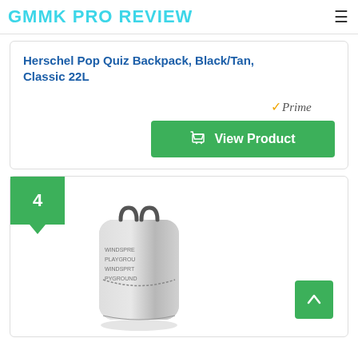GMMK PRO REVIEW
Herschel Pop Quiz Backpack, Black/Tan, Classic 22L
[Figure (other): Amazon Prime badge with orange checkmark and italic 'Prime' text]
[Figure (other): Green 'View Product' button with shopping cart icon]
4
[Figure (photo): Silver/metallic backpack with repeated text pattern on the surface, shown on a white background with subtle shadow. The backpack appears to be a Sprayground brand backpack.]